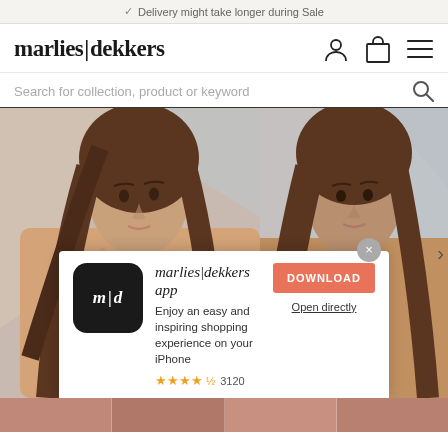✓ Delivery might take longer during Sale
marlies|dekkers
Search for collection, product or keyword
[Figure (screenshot): Two female models wearing nude/beige lingerie bras on a light background, shown side by side as a product carousel]
[Figure (infographic): App download popup overlay showing marlies|dekkers app with m|d icon, title 'marlies|dekkers app', description 'Enjoy an easy and inspiring shopping experience on your iPhone', star rating 3120, DOWNLOAD button and Open directly link]
marlies|dekkers app
Enjoy an easy and inspiring shopping experience on your iPhone
★★★★½ 3120
DOWNLOAD
Open directly